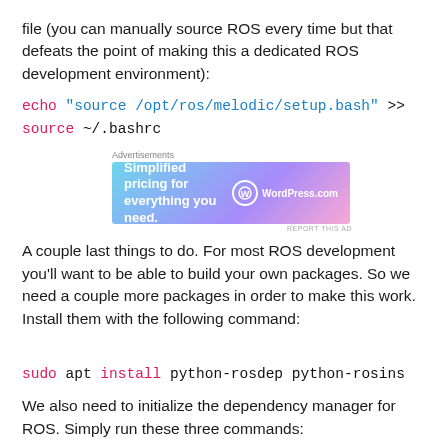file (you can manually source ROS every time but that defeats the point of making this a dedicated ROS development environment):
[Figure (screenshot): Advertisement banner for WordPress.com showing 'Simplified pricing for everything you need.']
A couple last things to do. For most ROS development you’ll want to be able to build your own packages. So we need a couple more packages in order to make this work. Install them with the following command:
We also need to initialize the dependency manager for ROS. Simply run these three commands: